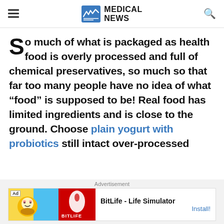MEDICAL NEWS
So much of what is packaged as health food is overly processed and full of chemical preservatives, so much so that far too many people have no idea of what “food” is supposed to be! Real food has limited ingredients and is close to the ground. Choose plain yogurt with probiotics still intact over-processed
Advertisement
Ad | BitLife - Life Simulator | Install!